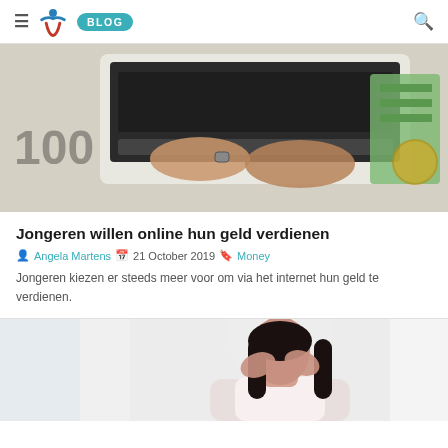≡ [logo] BLOG [search]
[Figure (photo): Hands typing on a laptop keyboard with euro banknotes (100) visible in the foreground]
Jongeren willen online hun geld verdienen
Angela Martens  21 October 2019  Money
Jongeren kiezen er steeds meer voor om via het internet hun geld te verdienen.
[Figure (photo): Woman with dark hair holding her head in her hands, appearing stressed, seated at a desk]